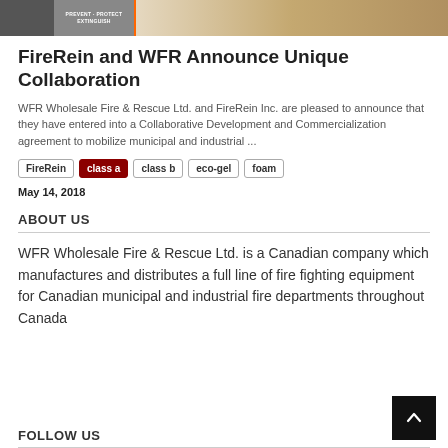[Figure (photo): Top banner image showing fire/rescue equipment and logo with text PREVENT PROTECT EXTINGUISH, with an orange separator bar]
FireRein and WFR Announce Unique Collaboration
WFR Wholesale Fire & Rescue Ltd. and FireRein Inc. are pleased to announce that they have entered into a Collaborative Development and Commercialization agreement to mobilize municipal and industrial ...
FireRein
class a
class b
eco-gel
foam
May 14, 2018
ABOUT US
WFR Wholesale Fire & Rescue Ltd. is a Canadian company which manufactures and distributes a full line of fire fighting equipment for Canadian municipal and industrial fire departments throughout Canada
FOLLOW US